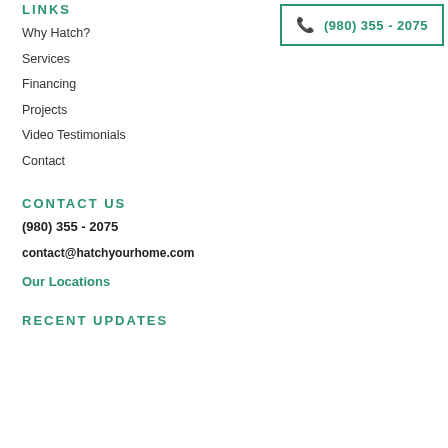LINKS
Why Hatch?
Services
Financing
Projects
Video Testimonials
Contact
[Figure (other): Phone number button: (980) 355 - 2075 with phone icon, teal border]
CONTACT US
(980) 355 - 2075
contact@hatchyourhome.com
Our Locations
RECENT UPDATES